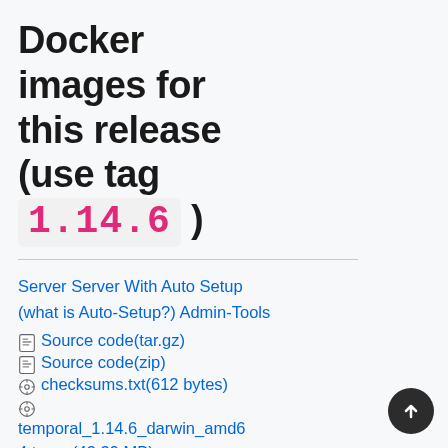Docker images for this release (use tag 1.14.6 )
Server Server With Auto Setup (what is Auto-Setup?) Admin-Tools
Source code(tar.gz)
Source code(zip)
checksums.txt(612 bytes)
temporal_1.14.6_darwin_amd64.tar.gz(43.39 MB)